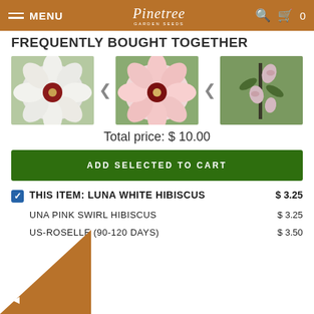MENU | Pinetree Garden Seeds | 0
FREQUENTLY BOUGHT TOGETHER
[Figure (photo): Three hibiscus flower product photos side by side: white hibiscus, pink swirl hibiscus, and hibiscus-roselle plant on a stem]
Total price: $ 10.00
ADD SELECTED TO CART
THIS ITEM: LUNA WHITE HIBISCUS  $ 3.25
LUNA PINK SWIRL HIBISCUS  $ 3.25
HIBISCUS-ROSELLE (90-120 DAYS)  $ 3.50